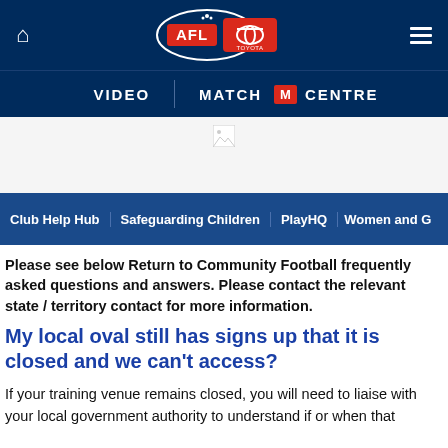[Figure (logo): AFL Toyota logo in top navigation bar with home icon and hamburger menu]
VIDEO | MATCH M CENTRE
[Figure (other): Broken image placeholder in white area below navigation]
Club Help Hub  Safeguarding Children  PlayHQ  Women and G
Please see below Return to Community Football frequently asked questions and answers. Please contact the relevant state / territory contact for more information.
My local oval still has signs up that it is closed and we can't access?
If your training venue remains closed, you will need to liaise with your local government authority to understand if or when that